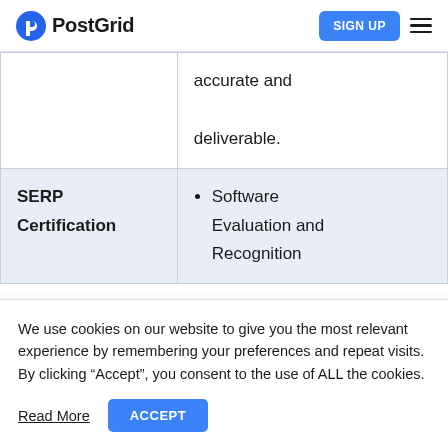PostGrid | SIGN UP
|  | accurate and deliverable. |
| SERP Certification | Software Evaluation and Recognition |
We use cookies on our website to give you the most relevant experience by remembering your preferences and repeat visits. By clicking “Accept”, you consent to the use of ALL the cookies.
Read More
ACCEPT